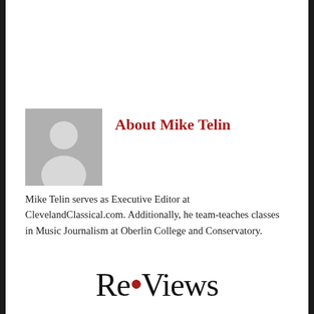About Mike Telin
[Figure (illustration): Generic grey placeholder avatar/silhouette icon representing a person]
Mike Telin serves as Executive Editor at ClevelandClassical.com. Additionally, he team-teaches classes in Music Journalism at Oberlin College and Conservatory.
[Figure (logo): Re•Views logo with a red dot between Re and Views]